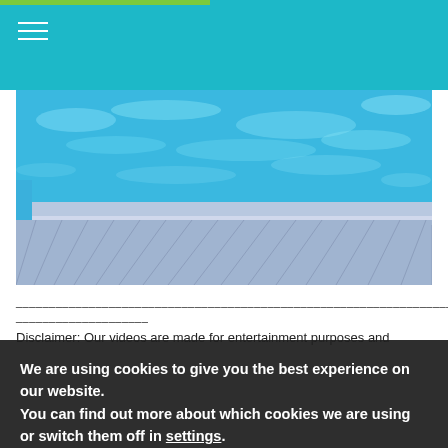[Figure (photo): Aerial view of a swimming pool with bright blue water and a wooden deck/poolside area in light blue/grey tones]
________________________________________________________________________________
____________________
Disclaimer: Our videos are made for entertainment purposes and
We are using cookies to give you the best experience on our website.
You can find out more about which cookies we are using or switch them off in settings.
Accept